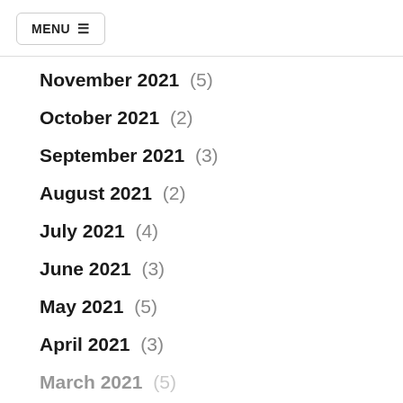MENU ☰
November 2021 (5)
October 2021 (2)
September 2021 (3)
August 2021 (2)
July 2021 (4)
June 2021 (3)
May 2021 (5)
April 2021 (3)
March 2021 (5)